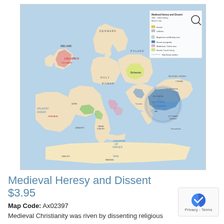[Figure (map): Historical map titled 'Medieval Heresy and Dissent 12th-15th Century' showing Europe and Mediterranean region with colored regions indicating heretical movements including Lollards in England (red/pink), Hussites in Bohemia (yellow-green), Cathars in southern France (green), and Ottoman territory (blue). Map includes legend with color codes and watermark 'MAP ARCHIVE'.]
Medieval Heresy and Dissent
$3.95
Map Code: Ax02397
Medieval Christianity was riven by dissenting religious